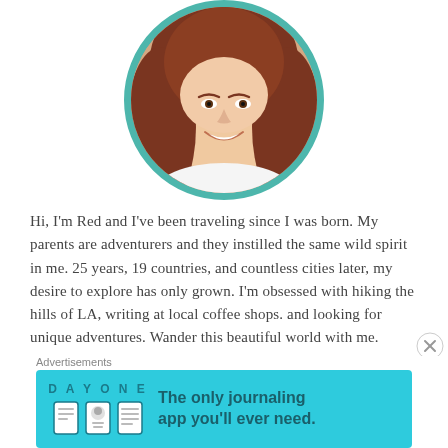[Figure (photo): Circular profile photo of a young woman with long red/auburn hair, smiling, framed with a teal border circle, partially cropped at top]
Hi, I'm Red and I've been traveling since I was born. My parents are adventurers and they instilled the same wild spirit in me. 25 years, 19 countries, and countless cities later, my desire to explore has only grown. I'm obsessed with hiking the hills of LA, writing at local coffee shops. and looking for unique adventures. Wander this beautiful world with me.
Advertisements
[Figure (screenshot): Advertisement banner for DAY ONE journaling app with teal background, app icons, and text 'The only journaling app you'll ever need.']